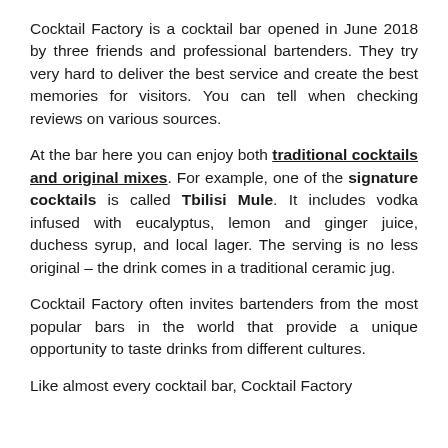Cocktail Factory is a cocktail bar opened in June 2018 by three friends and professional bartenders. They try very hard to deliver the best service and create the best memories for visitors. You can tell when checking reviews on various sources.
At the bar here you can enjoy both traditional cocktails and original mixes. For example, one of the signature cocktails is called Tbilisi Mule. It includes vodka infused with eucalyptus, lemon and ginger juice, duchess syrup, and local lager. The serving is no less original – the drink comes in a traditional ceramic jug.
Cocktail Factory often invites bartenders from the most popular bars in the world that provide a unique opportunity to taste drinks from different cultures.
Like almost every cocktail bar, Cocktail Factory